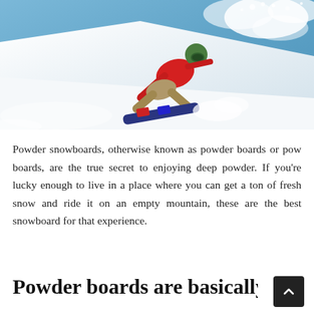[Figure (photo): A snowboarder in a red jacket and green helmet carving through deep powder snow on a mountain slope, with blue sky in the background and snow spray flying.]
Powder snowboards, otherwise known as powder boards or pow boards, are the true secret to enjoying deep powder. If you're lucky enough to live in a place where you can get a ton of fresh snow and ride it on an empty mountain, these are the best snowboard for that experience.
Powder boards are basically w